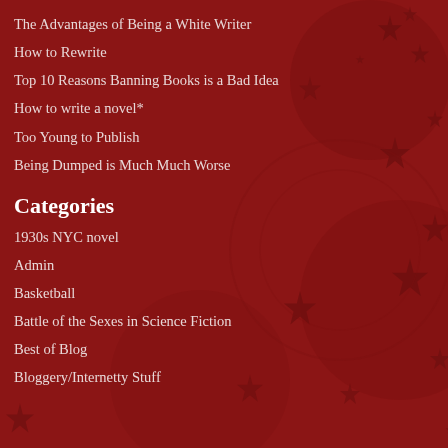The Advantages of Being a White Writer
How to Rewrite
Top 10 Reasons Banning Books is a Bad Idea
How to write a novel*
Too Young to Publish
Being Dumped is Much Much Worse
Categories
1930s NYC novel
Admin
Basketball
Battle of the Sexes in Science Fiction
Best of Blog
Bloggery/Internetty Stuff